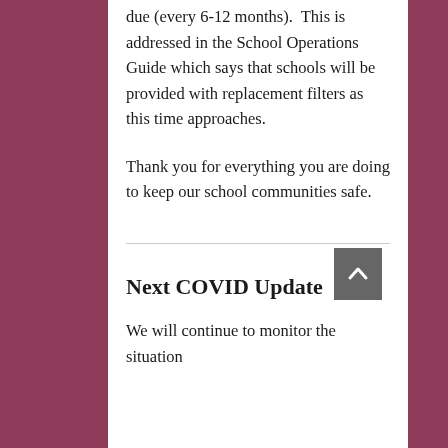due (every 6-12 months).  This is addressed in the School Operations Guide which says that schools will be provided with replacement filters as this time approaches.
Thank you for everything you are doing to keep our school communities safe.
Next COVID Update
We will continue to monitor the situation